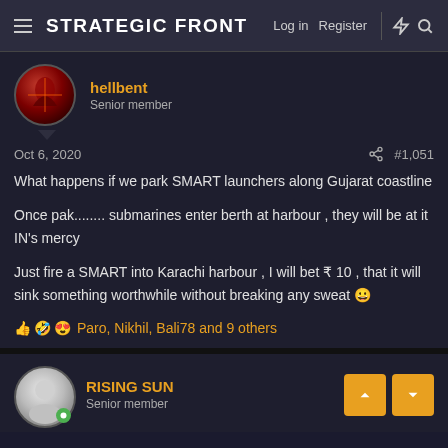Strategic Front — Log in  Register
hellbent
Senior member
Oct 6, 2020   #1,051
What happens if we park SMART launchers along Gujarat coastline

Once pak........ submarines enter berth at harbour , they will be at it IN's mercy

Just fire a SMART into Karachi harbour , I will bet ₹ 10 , that it will sink something worthwhile without breaking any sweat 😀
👍 🤣 😍 Paro, Nikhil, Bali78 and 9 others
RISING SUN
Senior member